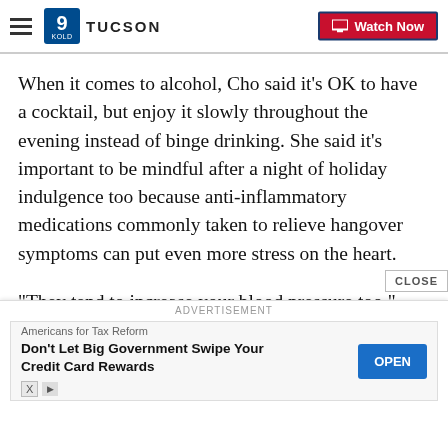9 KOLD TUCSON | Watch Now
When it comes to alcohol, Cho said it’s OK to have a cocktail, but enjoy it slowly throughout the evening instead of binge drinking. She said it’s important to be mindful after a night of holiday indulgence too because anti-inflammatory medications commonly taken to relieve hangover symptoms can put even more stress on the heart.
“They tend to increase your blood pressure too,” Cho said. “So, if they increase your blood pressure, some people end up having heart failure because it’s like a vicious cycle. So it’s really important just to watch
[Figure (other): Advertisement banner: Americans for Tax Reform - Don't Let Big Government Swipe Your Credit Card Rewards, with OPEN button]